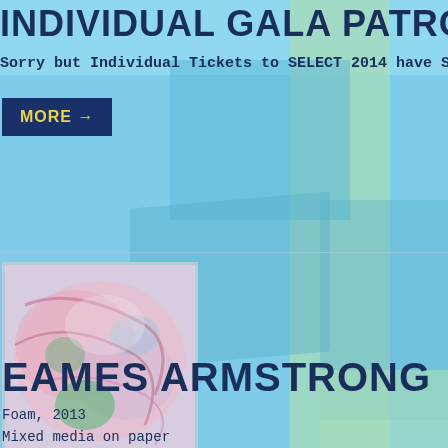INDIVIDUAL GALA PATRON
Sorry but Individual Tickets to SELECT 2014 have S
MORE →
[Figure (photo): Abstract painting with pink, green, and blue mixed media on paper, thumbnail image]
EAMES ARMSTRONG
Foam, 2013
Mixed media on paper
18" x 16"
Courtesy of the Artist
Retail Price: $450